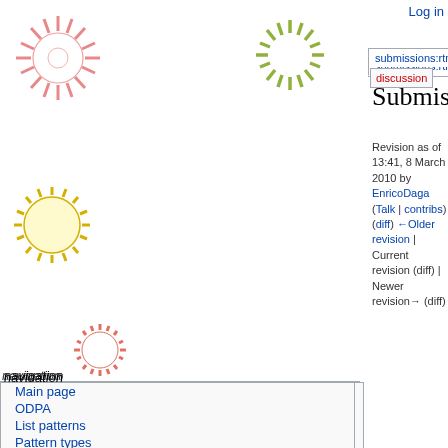Log in
submissions:rtmsmapping | discussion
Submissions:RTMSmapp
Revision as of 13:41, 8 March 2010 by EnricoDaga (Talk | contribs)
(diff) ←Older revision | Current revision (diff) | Newer revision→ (diff)
navigation
Main page
ODPA
List patterns
Pattern types
Modeling Issues
Domains
Training
Events
contribute
Submit a pattern
Submit an exemplary ontology
Post a modeling issue
Review a pattern
Feedback about the
If you are a member of quality committee please visit the evaluation section
If you are author of this proposal or you want to contribute to this pattern's review, you can:
- ask for a review
- post your open review
- specify if this revision takes in account any of the review(s)